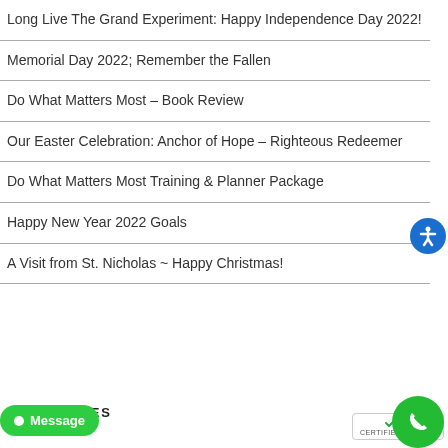Long Live The Grand Experiment: Happy Independence Day 2022!
Memorial Day 2022; Remember the Fallen
Do What Matters Most – Book Review
Our Easter Celebration: Anchor of Hope – Righteous Redeemer
Do What Matters Most Training & Planner Package
Happy New Year 2022 Goals
A Visit from St. Nicholas ~ Happy Christmas!
CATEGORIES